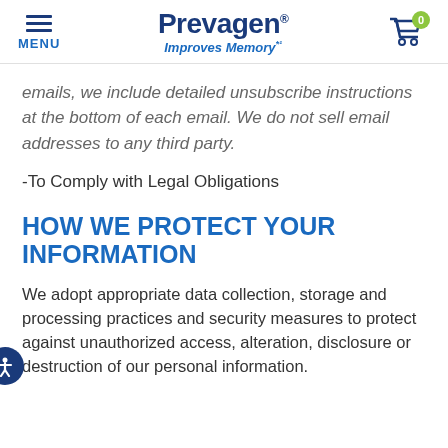MENU | Prevagen® Improves Memory™¹ | Cart (0)
emails, we include detailed unsubscribe instructions at the bottom of each email. We do not sell email addresses to any third party.
-To Comply with Legal Obligations
HOW WE PROTECT YOUR INFORMATION
We adopt appropriate data collection, storage and processing practices and security measures to protect against unauthorized access, alteration, disclosure or destruction of our personal information.